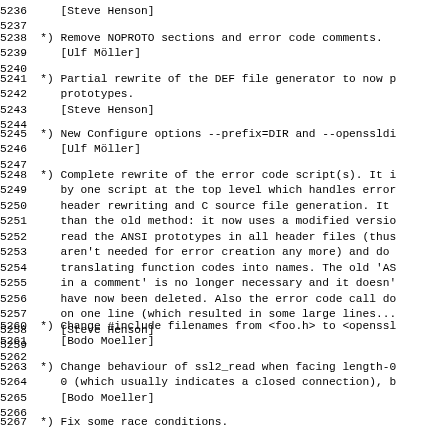5236     [Steve Henson]
5238  *) Remove NOPROTO sections and error code comments.
5239     [Ulf Möller]
5241  *) Partial rewrite of the DEF file generator to now p
5242     prototypes.
5243     [Steve Henson]
5245  *) New Configure options --prefix=DIR and --openssldi
5246     [Ulf Möller]
5248  *) Complete rewrite of the error code script(s). It i
5249     by one script at the top level which handles error
5250     header rewriting and C source file generation. It
5251     than the old method: it now uses a modified versio
5252     read the ANSI prototypes in all header files (thus
5253     aren't needed for error creation any more) and do
5254     translating function codes into names. The old 'AS
5255     in a comment' is no longer necessary and it doesn'
5256     have now been deleted. Also the error code call do
5257     on one line (which resulted in some large lines...
5258     [Steve Henson]
5260  *) Change #include filenames from <foo.h> to <openssl
5261     [Bodo Moeller]
5263  *) Change behaviour of ssl2_read when facing length-0
5264     0 (which usually indicates a closed connection), b
5265     [Bodo Moeller]
5267  *) Fix some race conditions.